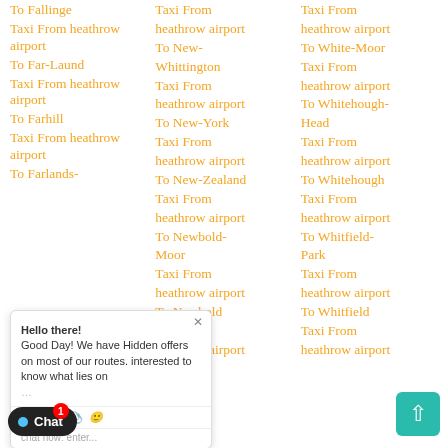To Fallinge Taxi From heathrow airport
To Far-Laund Taxi From heathrow airport
To Farhill Taxi From heathrow airport
To Farlands- [truncated]
Taxi From heathrow airport [col2 top]
To New-Whittington Taxi From heathrow airport
To New-York Taxi From heathrow airport
To New-Zealand Taxi From heathrow airport
To Newbold-Moor Taxi From heathrow airport
To Newbold Taxi From heathrow airport
Taxi From heathrow airport [col3 top]
To White-Moor Taxi From heathrow airport
To Whitehough-Head Taxi From heathrow airport
To Whitehough Taxi From heathrow airport
To Whitfield-Park Taxi From heathrow airport
To Whitfield Taxi From heathrow airport
[Figure (screenshot): Chat popup overlay with message: Hello there! Good Day! We have Hidden offers on most of our routes. interested to know what lies on... with input row showing Type, thumbsup, paperclip, emoji icons, and placeholder text 'chat now: enter...']
[Figure (screenshot): Chat button bottom left: black rounded button with blue dot, text 'Chat', red badge with number 1]
[Figure (screenshot): Scroll-to-top teal rounded square button with up arrow, bottom right]